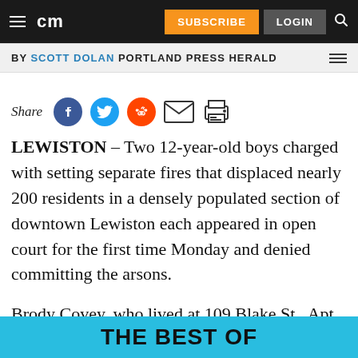cm | SUBSCRIBE | LOGIN
BY SCOTT DOLAN PORTLAND PRESS HERALD
[Figure (other): Share icons row: Facebook, Twitter, Reddit, Email, Print]
LEWISTON – Two 12-year-old boys charged with setting separate fires that displaced nearly 200 residents in a densely populated section of downtown Lewiston each appeared in open court for the first time Monday and denied committing the arsons.
Brody Covey, who lived at 109 Blake St., Apt. 1,
THE BEST OF